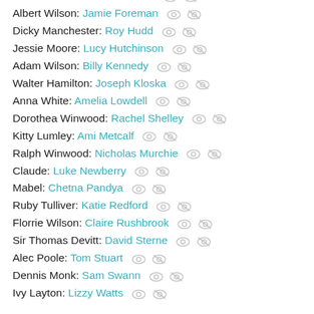Oscar Hendrickx: Pierre Elliot
Albert Wilson: Jamie Foreman
Dicky Manchester: Roy Hudd
Jessie Moore: Lucy Hutchinson
Adam Wilson: Billy Kennedy
Walter Hamilton: Joseph Kloska
Anna White: Amelia Lowdell
Dorothea Winwood: Rachel Shelley
Kitty Lumley: Ami Metcalf
Ralph Winwood: Nicholas Murchie
Claude: Luke Newberry
Mabel: Chetna Pandya
Ruby Tulliver: Katie Redford
Florrie Wilson: Claire Rushbrook
Sir Thomas Devitt: David Sterne
Alec Poole: Tom Stuart
Dennis Monk: Sam Swann
Ivy Layton: Lizzy Watts